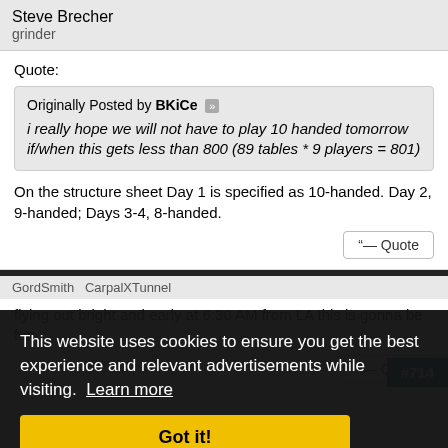Steve Brecher
grinder
Quote:
Originally Posted by BKiCe
i really hope we will not have to play 10 handed tomorrow if/when this gets less than 800 (89 tables * 9 players = 801)
On the structure sheet Day 1 is specified as 10-handed. Day 2, 9-handed; Days 3-4, 8-handed.
This website uses cookies to ensure you get the best experience and relevant advertisements while visiting. Learn more
Got it!
#714
flying out bright and early at 6:30 AM from LA this is gonna be fun.